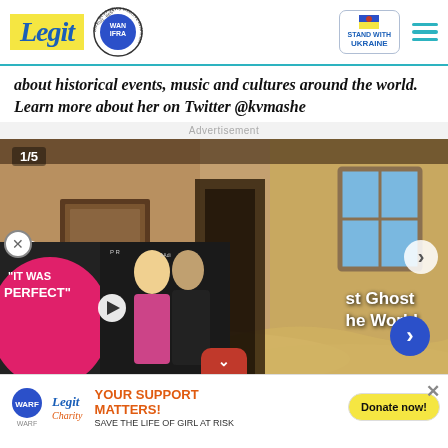Legit — WAN IFRA 2021 Best News Website in Africa — Stand with Ukraine
about historical events, music and cultures around the world. Learn more about her on Twitter @kvmashe
Advertisement
[Figure (photo): Slideshow showing interior of an abandoned building with sand drifts. Counter shows 1/5. Caption partially visible: 'st Ghost he World']
[Figure (photo): Video overlay showing two people (woman and man) at an event, with text 'IT WAS PERFECT' and a play button]
[Figure (infographic): Legit Charity banner: YOUR SUPPORT MATTERS! SAVE THE LIFE OF GIRL AT RISK. Donate now! button.]